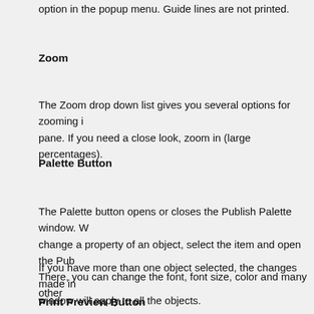option in the popup menu. Guide lines are not printed.
Zoom
The Zoom drop down list gives you several options for zooming in pane. If you need a close look, zoom in (large percentages).
Palette Button
The Palette button opens or closes the Publish Palette window. When you change a property of an object, select the item and open the Pub... There, you can change the font, font size, color and many other
If you have more than one object selected, the changes made in window will apply to all the objects.
Print Preview Button